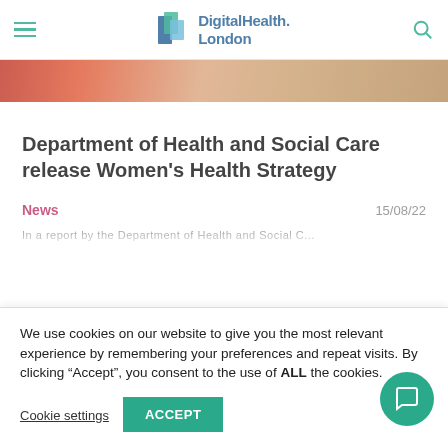DigitalHealth.London
[Figure (photo): Partial photo of people at a table, showing hands and clothing in warm tones, cropped at top of page]
Department of Health and Social Care release Women's Health Strategy
News
15/08/22
We use cookies on our website to give you the most relevant experience by remembering your preferences and repeat visits. By clicking “Accept”, you consent to the use of ALL the cookies.
Cookie settings
ACCEPT